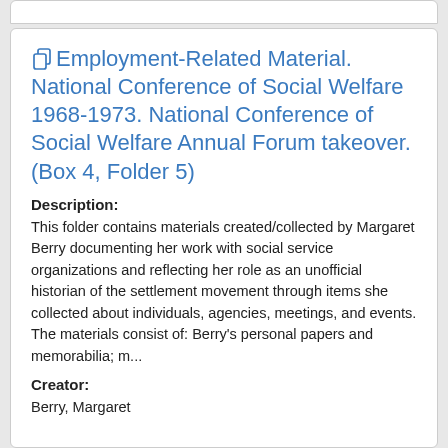Employment-Related Material. National Conference of Social Welfare 1968-1973. National Conference of Social Welfare Annual Forum takeover. (Box 4, Folder 5)
Description:
This folder contains materials created/collected by Margaret Berry documenting her work with social service organizations and reflecting her role as an unofficial historian of the settlement movement through items she collected about individuals, agencies, meetings, and events. The materials consist of: Berry's personal papers and memorabilia; m...
Creator:
Berry, Margaret